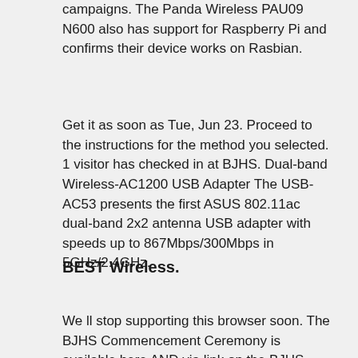campaigns. The Panda Wireless PAU09 N600 also has support for Raspberry Pi and confirms their device works on Rasbian.
Get it as soon as Tue, Jun 23. Proceed to the instructions for the method you selected. 1 visitor has checked in at BJHS. Dual-band Wireless-AC1200 USB Adapter The USB-AC53 presents the first ASUS 802.11ac dual-band 2x2 antenna USB adapter with speeds up to 867Mbps/300Mbps in 5GHz/2.4GHz.
BEST Wireless.
We ll stop supporting this browser soon. The BJHS Commencement Ceremony is available here AND via link on the BJHS website. This USB Wi-Fi adapter is ideal and compatible with...